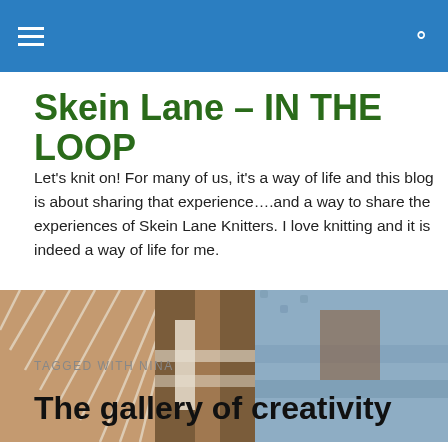Skein Lane – IN THE LOOP (navigation bar)
Skein Lane – IN THE LOOP
Let's knit on! For many of us, it's a way of life and this blog is about sharing that experience….and a way to share the experiences of Skein Lane Knitters. I love knitting and it is indeed a way of life for me.
[Figure (photo): Close-up photograph of knitted fabric showing textured patterns in brown, white, and blue/grey colors]
TAGGED WITH NINA
The gallery of creativity